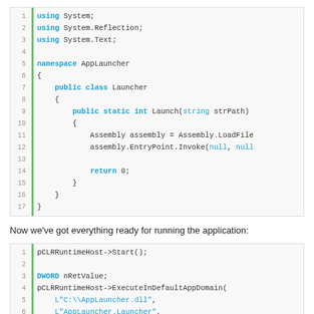[Figure (screenshot): C# code block showing AppLauncher namespace with Launcher class and Launch static method using Assembly.LoadFile and EntryPoint.Invoke]
Now we've got everything ready for running the application:
[Figure (screenshot): C++ code block showing pCLRRuntimeHost->Start(), DWORD nRetValue, and ExecuteInDefaultAppDomain call with AppLauncher.dll, AppLauncher.Launcher, Launch, WindowsApplication1.exe, and &nRetValue parameters]